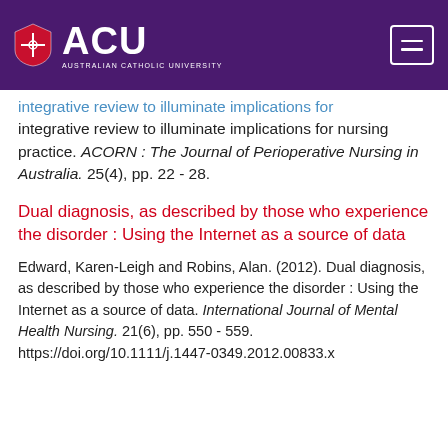[Figure (logo): ACU Australian Catholic University logo with shield emblem on purple header bar with hamburger menu button]
integrative review to illuminate implications for nursing practice. ACORN : The Journal of Perioperative Nursing in Australia. 25(4), pp. 22 - 28.
Dual diagnosis, as described by those who experience the disorder : Using the Internet as a source of data
Edward, Karen-Leigh and Robins, Alan. (2012). Dual diagnosis, as described by those who experience the disorder : Using the Internet as a source of data. International Journal of Mental Health Nursing. 21(6), pp. 550 - 559. https://doi.org/10.1111/j.1447-0349.2012.00833.x